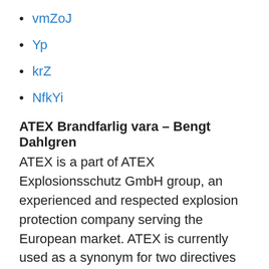vmZoJ
Yp
krZ
NfkYi
ATEX Brandfarlig vara – Bengt Dahlgren
ATEX is a part of ATEX Explosionsschutz GmbH group, an experienced and respected explosion protection company serving the European market. ATEX is currently used as a synonym for two directives who describe which equipment is allowed in an hazardous environment and how to classify those hazardous areas with an explosive atmosphere. You can download the complete